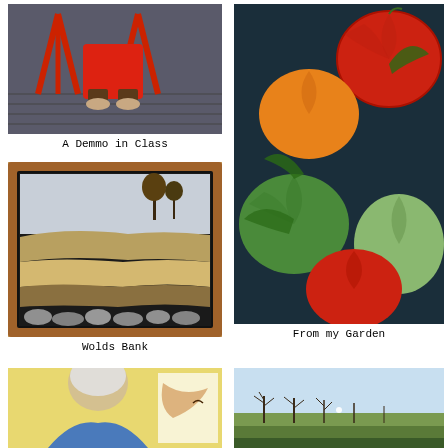[Figure (photo): Photo of a person in red clothing sitting or standing near red easels/chairs in a classroom setting, viewed from below waist.]
A Demmo in Class
[Figure (photo): Large painting of colorful heirloom tomatoes in shades of red, orange, yellow and green against a dark background.]
From my Garden
[Figure (photo): Framed artwork in a wooden frame depicting a landscape with layered rock formations, trees in the background, and stones in the foreground.]
Wolds Bank
[Figure (photo): Partial photo of a person with light hair, seen from behind, working on or viewing something, indoors with yellow wall.]
[Figure (photo): Painting of a wintry landscape with bare trees, a field, and a pale blue sky.]